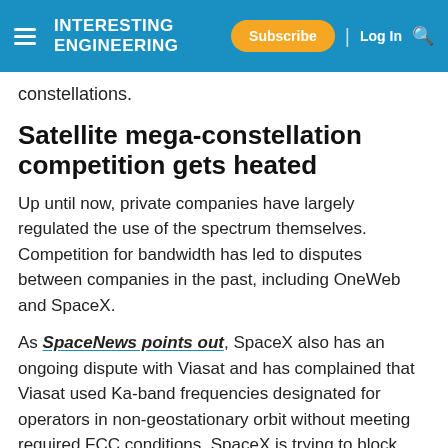INTERESTING ENGINEERING | Subscribe | Log In
constellations.
Satellite mega-constellation competition gets heated
Up until now, private companies have largely regulated the use of the spectrum themselves. Competition for bandwidth has led to disputes between companies in the past, including OneWeb and SpaceX.
As SpaceNews points out, SpaceX also has an ongoing dispute with Viasat and has complained that Viasat used Ka-band frequencies designated for operators in non-geostationary orbit without meeting required FCC conditions. SpaceX is trying to block Viasat's $7.3 billion plan to buy British satellite